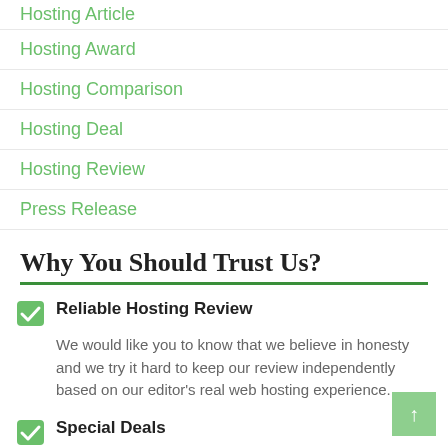Hosting Article
Hosting Award
Hosting Comparison
Hosting Deal
Hosting Review
Press Release
Why You Should Trust Us?
Reliable Hosting Review
We would like you to know that we believe in honesty and we try it hard to keep our review independently based on our editor's real web hosting experience.
Special Deals
We write a post for coupon, discount and promotion